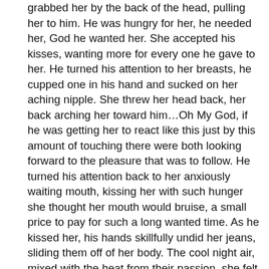grabbed her by the back of the head, pulling her to him. He was hungry for her, he needed her, God he wanted her. She accepted his kisses, wanting more for every one he gave to her. He turned his attention to her breasts, he cupped one in his hand and sucked on her aching nipple. She threw her head back, her back arching her toward him…Oh My God, if he was getting her to react like this just by this amount of touching there were both looking forward to the pleasure that was to follow. He turned his attention back to her anxiously waiting mouth, kissing her with such hunger she thought her mouth would bruise, a small price to pay for such a long wanted time. As he kissed her, his hands skillfully undid her jeans, sliding them off of her body. The cool night air, mixed with the heat from their passion, she felt fevered, her body was pressed against him, the smoothness of her against her well chiseled body. Oh if they could just freeze time, to stay together right now, be the only 2 people who existHe said in a low growl "i am going to make love to you like no other man has, I am going to bring you to the edge of extreme tempobet güvenilirmi pleasure and pull you back, only to bring you